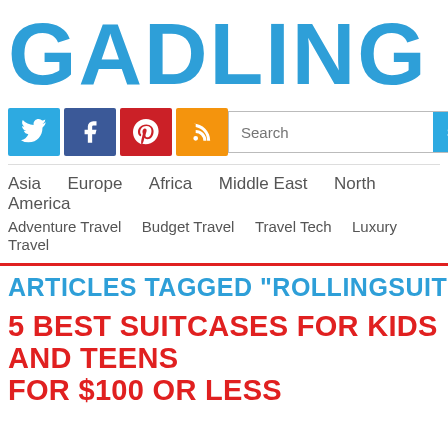GADLING
[Figure (logo): Social media icons: Twitter (blue), Facebook (dark blue), Pinterest (red), RSS (orange)]
Asia  Europe  Africa  Middle East  North America
Adventure Travel  Budget Travel  Travel Tech  Luxury Travel
ARTICLES TAGGED "ROLLINGSUITCASE"
5 BEST SUITCASES FOR KIDS AND TEENS FOR $100 OR LESS